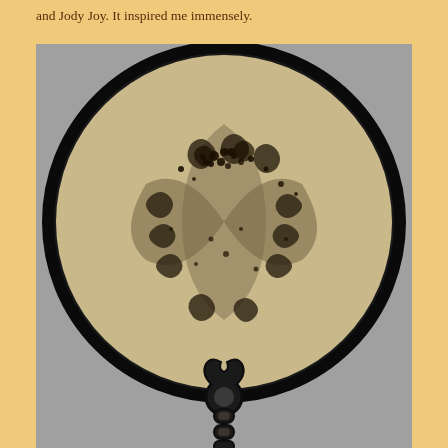and Jody Joy. It inspired me immensely.
[Figure (photo): Black and white photograph of an ancient decorative circular mirror with intricate swirling Celtic or La Tène style patterns on its face, featuring a handle beneath the round disc with decorative chain-like links.]